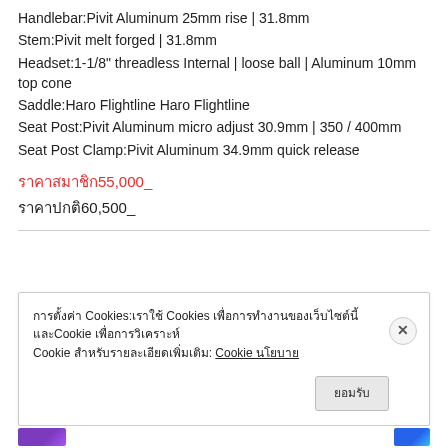Handlebar:Pivit Aluminum 25mm rise | 31.8mm
Stem:Pivit melt forged | 31.8mm
Headset:1-1/8" threadless Internal | loose ball | Aluminum 10mm top cone
Saddle:Haro Flightline Haro Flightline
Seat Post:Pivit Aluminum micro adjust 30.9mm | 350 / 400mm
Seat Post Clamp:Pivit Aluminum 34.9mm quick release
ราคาสมาชิก55,000_
ราคาปกติ60,500_
การตั้งค่า Cookies: เราใช้ Cookies เพื่อการทำงานของเว็บไซต์นี้และCookie เพื่อการวิเคราะห์ Cookie สำหรับรายละเอียดเพิ่มเติม: Cookie นโยบาย
ยอมรับ